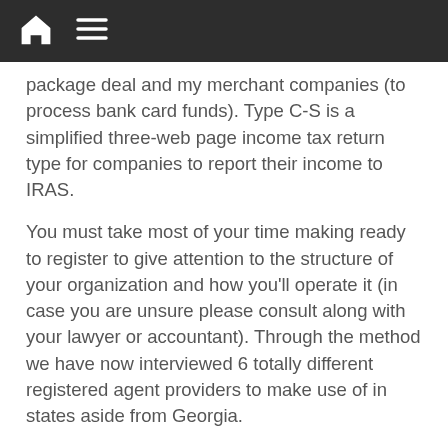Navigation bar with home and menu icons
package deal and my merchant companies (to process bank card funds). Type C-S is a simplified three-web page income tax return type for companies to report their income to IRAS.
You must take most of your time making ready to register to give attention to the structure of your organization and how you'll operate it (in case you are unsure please consult along with your lawyer or accountant). Through the method we have now interviewed 6 totally different registered agent providers to make use of in states aside from Georgia.
You can apply either by finishing the order form that is provided once you purchase the entire firm